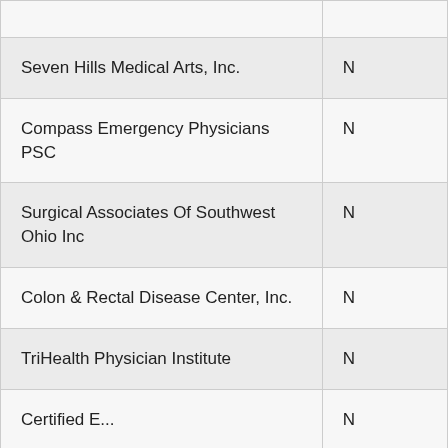|  |  |
| Seven Hills Medical Arts, Inc. | N |
| Compass Emergency Physicians PSC | N |
| Surgical Associates Of Southwest Ohio Inc | N |
| Colon & Rectal Disease Center, Inc. | N |
| TriHealth Physician Institute | N |
| Certified Emergency... | N |